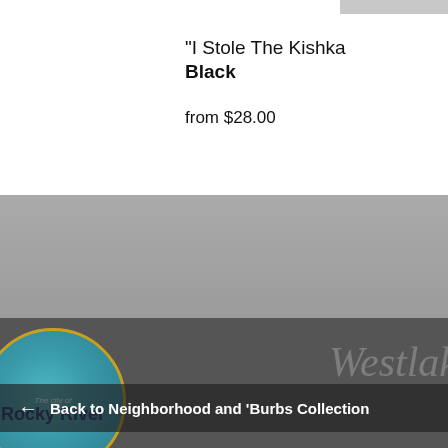"I Stole The Kishka
Black
from $28.00
[Figure (photo): Green t-shirt displayed on a person, collar visible, gray background]
Next: "Westlake" Design on Green →
[Figure (photo): Neighborhood collage featuring Rocky River city badge, a building, and Westlake watermark text]
← Back to Neighborhood and 'Burbs Collection